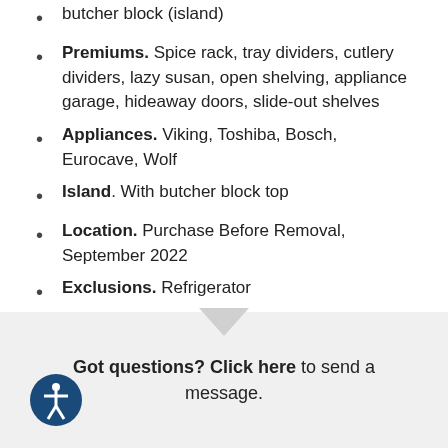butcher block (island)
Premiums. Spice rack, tray dividers, cutlery dividers, lazy susan, open shelving, appliance garage, hideaway doors, slide-out shelves
Appliances. Viking, Toshiba, Bosch, Eurocave, Wolf
Island. With butcher block top
Location. Purchase Before Removal, September 2022
Exclusions. Refrigerator
Got questions? Click here to send a message.